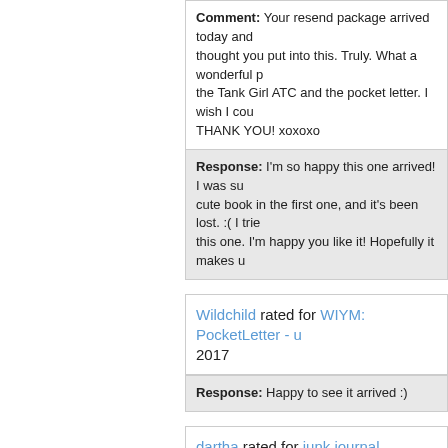Comment: Your resend package arrived today and... thought you put into this. Truly. What a wonderful p... the Tank Girl ATC and the pocket letter. I wish I cou... THANK YOU! xoxoxo
Response: I'm so happy this one arrived! I was su... cute book in the first one, and it's been lost. :( I trie... this one. I'm happy you like it! Hopefully it makes u...
Wildchild rated for WIYM: PocketLetter - u... 2017
Response: Happy to see it arrived :)
dartha rated for junk journal supplies - Chr...
Comment: Got the 2nd one you sent - thank you s... awesome!!!! Thank you, darla
Response: Do you mean you didn't receive this? O...